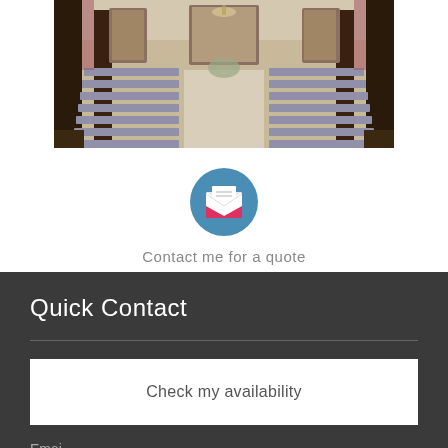[Figure (photo): Wide-angle interior photo of a wedding venue / grand hall with rows of chairs with white covers arranged in an aisle formation, tall dark columns, chandeliers, and large windows with draped curtains]
[Figure (illustration): Blue circle icon containing a pink/red open envelope with a white letter inside]
Contact me for a quote
Quick Contact
Check my availability
Emai...